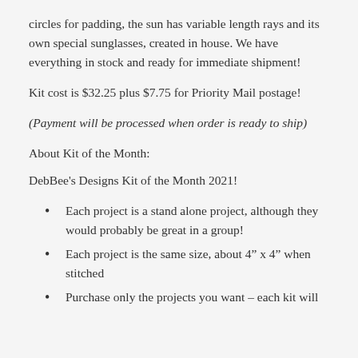circles for padding, the sun has variable length rays and its own special sunglasses, created in house. We have everything in stock and ready for immediate shipment!
Kit cost is $32.25 plus $7.75 for Priority Mail postage!
(Payment will be processed when order is ready to ship)
About Kit of the Month:
DebBee's Designs Kit of the Month 2021!
Each project is a stand alone project, although they would probably be great in a group!
Each project is the same size, about 4" x 4" when stitched
Purchase only the projects you want – each kit will